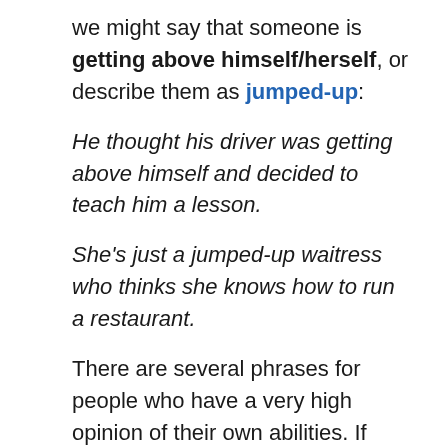we might say that someone is getting above himself/herself, or describe them as jumped-up:
He thought his driver was getting above himself and decided to teach him a lesson.
She's just a jumped-up waitress who thinks she knows how to run a restaurant.
There are several phrases for people who have a very high opinion of their own abilities. If someone thinks they are God's gift to something, they think they are very good at something, or extremely attractive. If someone is too big for their boots (UK)/britches (US), they think they are more important or talented than they really are. We might